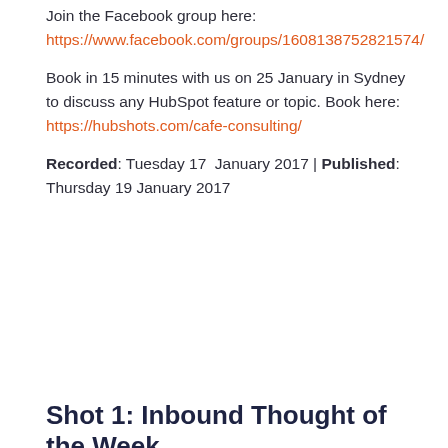Join the Facebook group here:
https://www.facebook.com/groups/1608138752821574/
Book in 15 minutes with us on 25 January in Sydney to discuss any HubSpot feature or topic. Book here:
https://hubshots.com/cafe-consulting/
Recorded: Tuesday 17 January 2017 | Published: Thursday 19 January 2017
Shot 1: Inbound Thought of the Week
Top 5 Content Marketing Hacks by Ryan Bonnici